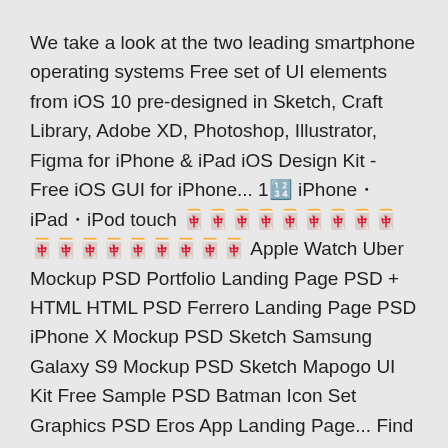We take a look at the two leading smartphone operating systems Free set of UI elements from iOS 10 pre-designed in Sketch, Craft Library, Adobe XD, Photoshop, Illustrator, Figma for iPhone & iPad iOS Design Kit - Free iOS GUI for iPhone... 1🔢 iPhone•iPad•iPod touch 🀄🀄🀄🀄🀄🀄🀄🀄🀄🀄🀄🀄🀄🀄🀄🀄🀄🀄 Apple Watch Uber Mockup PSD Portfolio Landing Page PSD + HTML HTML PSD Ferrero Landing Page PSD iPhone X Mockup PSD Sketch Samsung Galaxy S9 Mockup PSD Sketch Mapogo UI Kit Free Sample PSD Batman Icon Set Graphics PSD Eros App Landing Page... Find Top Designers & Creative Professionals on Dribbble. We are where designers gain inspiration, feedback, community, and jobs. Your best resource to discover and connect with designers worldwide.
Oct 21, 2018 Mockplus for Sketch Blog